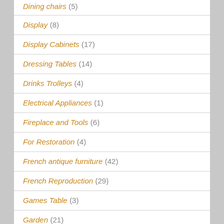Dining chairs (5)
Display (8)
Display Cabinets (17)
Dressing Tables (14)
Drinks Trolleys (4)
Electrical Appliances (1)
Fireplace and Tools (6)
For Restoration (4)
French antique furniture (42)
French Reproduction (29)
Games Table (3)
Garden (21)
Georgian Furniture (4)
Gilt Furniture (7)
Glass (22)